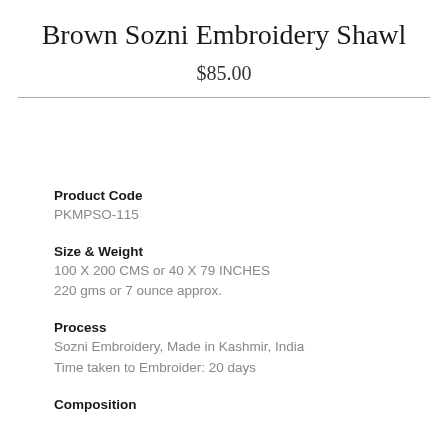Brown Sozni Embroidery Shawl
$85.00
Product Code
PKMPSO-115
Size & Weight
100 X 200 CMS or 40 X 79 INCHES
220 gms or 7 ounce approx.
Process
Sozni Embroidery, Made in Kashmir, India
Time taken to Embroider: 20 days
Composition